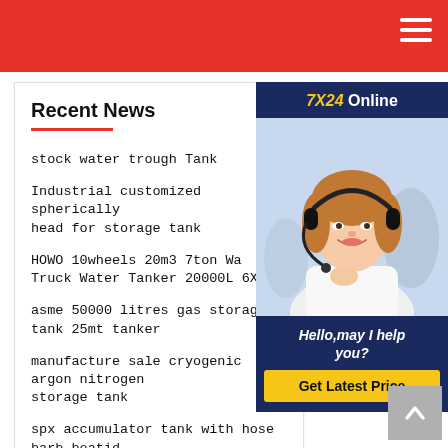Recent News
stock water trough Tank
Industrial customized spherically head for storage tank
HOWO 10wheels 20m3 7ton Wa Truck Water Tanker 20000L 6X4
asme 50000 litres gas storage tank 25mt tanker
manufacture sale cryogenic argon nitrogen storage tank
spx accumulator tank with hose barb boatid
[Figure (photo): Customer service representative with headset, smiling. Online support widget with '7X24 Online' header, tagline 'Hello,may I help you?' and 'Get Latest Price' button.]